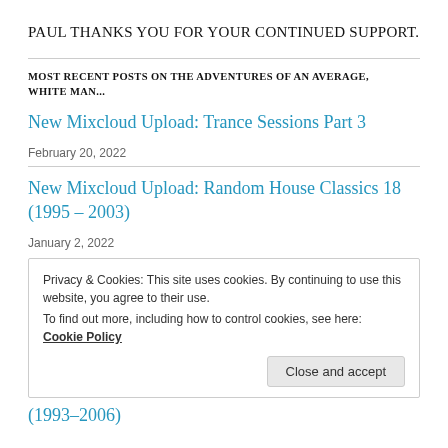PAUL THANKS YOU FOR YOUR CONTINUED SUPPORT.
MOST RECENT POSTS ON THE ADVENTURES OF AN AVERAGE, WHITE MAN...
New Mixcloud Upload: Trance Sessions Part 3
February 20, 2022
New Mixcloud Upload: Random House Classics 18 (1995 – 2003)
January 2, 2022
Privacy & Cookies: This site uses cookies. By continuing to use this website, you agree to their use.
To find out more, including how to control cookies, see here: Cookie Policy
Close and accept
(1993–2006)